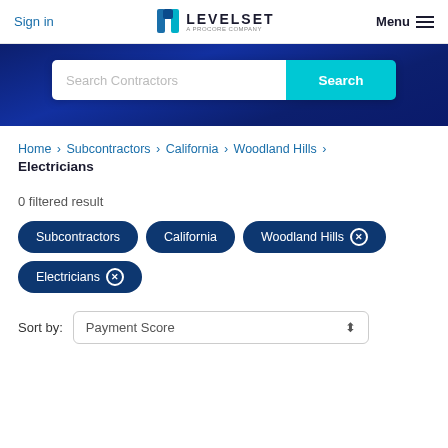Sign in | LEVELSET A PROCORE COMPANY | Menu
[Figure (screenshot): Search Contractors input bar with cyan Search button on dark blue background]
Home > Subcontractors > California > Woodland Hills > Electricians
0 filtered result
Subcontractors
California
Woodland Hills ✕
Electricians ✕
Sort by: Payment Score